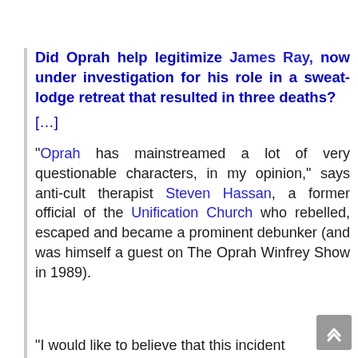Did Oprah help legitimize James Ray, now under investigation for his role in a sweat-lodge retreat that resulted in three deaths?
[…]
“Oprah has mainstreamed a lot of very questionable characters, in my opinion,” says anti-cult therapist Steven Hassan, a former official of the Unification Church who rebelled, escaped and became a prominent debunker (and was himself a guest on The Oprah Winfrey Show in 1989).
“I would like to believe that this incident...